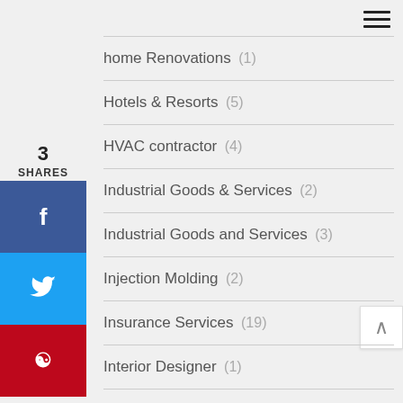home Renovations (1)
Hotels & Resorts (5)
HVAC contractor (4)
Industrial Goods & Services (2)
Industrial Goods and Services (3)
Injection Molding (2)
Insurance Services (19)
Interior Designer (1)
Interiors & Design (1)